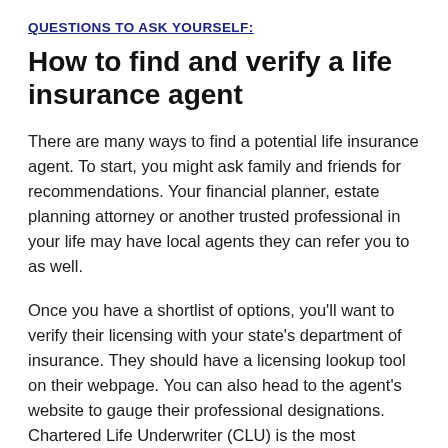QUESTIONS TO ASK YOURSELF:
How to find and verify a life insurance agent
There are many ways to find a potential life insurance agent. To start, you might ask family and friends for recommendations. Your financial planner, estate planning attorney or another trusted professional in your life may have local agents they can refer you to as well.
Once you have a shortlist of options, you'll want to verify their licensing with your state's department of insurance. They should have a licensing lookup tool on their webpage. You can also head to the agent's website to gauge their professional designations. Chartered Life Underwriter (CLU) is the most common